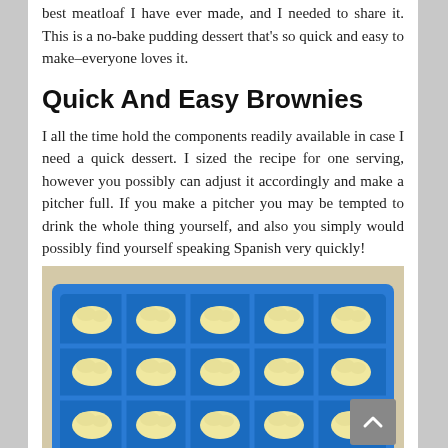best meatloaf I have ever made, and I needed to share it. This is a no-bake pudding dessert that’s so quick and easy to make–everyone loves it.
Quick And Easy Brownies
I all the time hold the components readily available in case I need a quick dessert. I sized the recipe for one serving, however you possibly can adjust it accordingly and make a pitcher full. If you make a pitcher you may be tempted to drink the whole thing yourself, and also you simply would possibly find yourself speaking Spanish very quickly!
[Figure (photo): A blue ice cube tray filled with dollops of pale yellow/cream colored dough or batter arranged in rows and columns.]